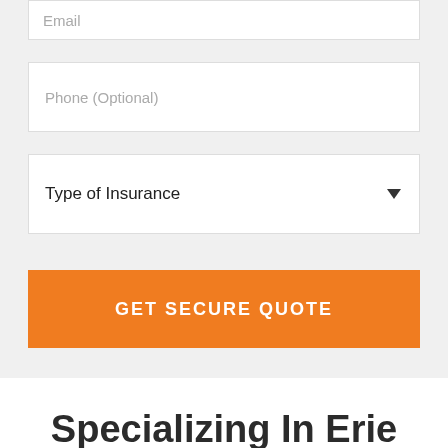Email
Phone (Optional)
Type of Insurance
GET SECURE QUOTE
Specializing In Erie Insurance